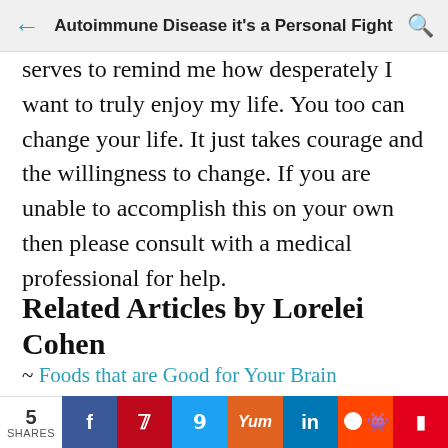Autoimmune Disease it's a Personal Fight
serves to remind me how desperately I want to truly enjoy my life. You too can change your life. It just takes courage and the willingness to change. If you are unable to accomplish this on your own then please consult with a medical professional for help.
Related Articles by Lorelei Cohen
~ Foods that are Good for Your Brain
~ Be Happy: Get Your Happiness Happening
5 SHARES  f  p  t  Yum  in  reddit  flipboard